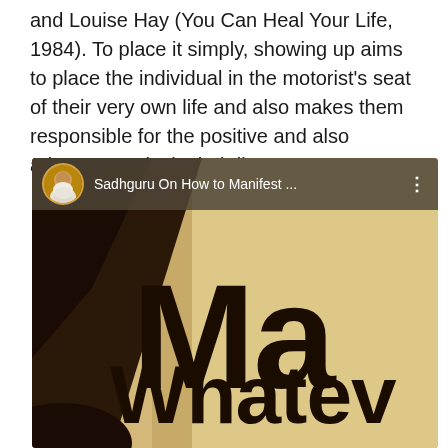and Louise Hay (You Can Heal Your Life, 1984). To place it simply, showing up aims to place the individual in the motorist's seat of their very own life and also makes them responsible for the positive and also adverse results in their lives.
[Figure (screenshot): Screenshot of a YouTube video thumbnail showing 'Sadhguru On How to Manifest ...' with a profile avatar of Sadhguru, and large bold text reading 'Ma' (Manifest) and 'Whatev' (Whatever) on a beige/tan background with a dark silhouette figure on the left.]